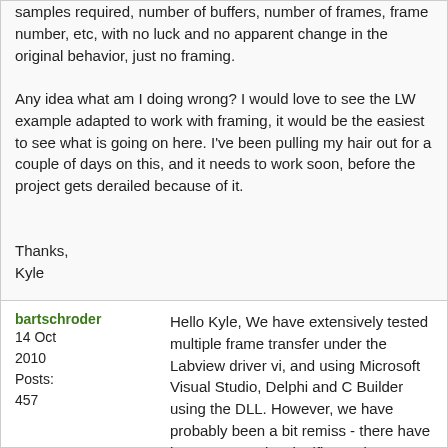samples required, number of buffers, number of frames, frame number, etc, with no luck and no apparent change in the original behavior, just no framing.

Any idea what am I doing wrong? I would love to see the LW example adapted to work with framing, it would be the easiest to see what is going on here. I've been pulling my hair out for a couple of days on this, and it needs to work soon, before the project gets derailed because of it.


Thanks,
Kyle
bartschroder
14 Oct 2010
Posts: 457
Hello Kyle, We have extensively tested multiple frame transfer under the Labview driver vi, and using Microsoft Visual Studio, Delphi and C Builder using the DLL. However, we have probably been a bit remiss - there have been some quite significant changes and I'm not sure the Labwindows environment has kept pace. We will check, and report back.